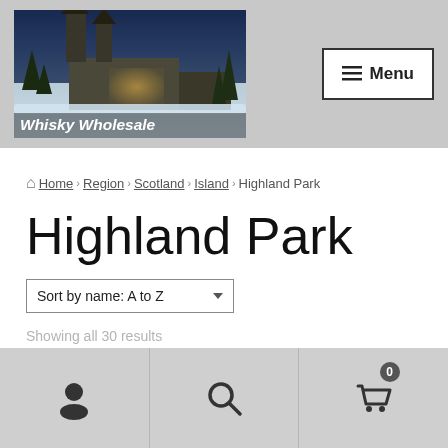[Figure (logo): Whisky Wholesale logo with distillery building at night in snowy landscape, text 'Whisky Wholesale' overlaid]
≡ Menu
🏠 Home › Region › Scotland › Island › Highland Park
Highland Park
Sort by name: A to Z
Showing all 30 results